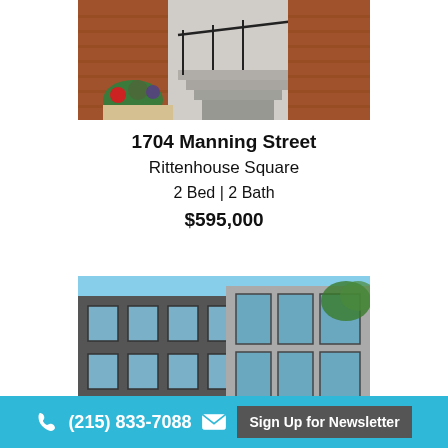[Figure (photo): Exterior photo of a brick rowhouse entrance with black metal railings, steps, and potted flowers/plants.]
1704 Manning Street
Rittenhouse Square
2 Bed | 2 Bath
$595,000
[Figure (photo): Exterior photo of a modern multi-story brick and glass building with large windows.]
(215) 833-7088   Sign Up for Newsletter